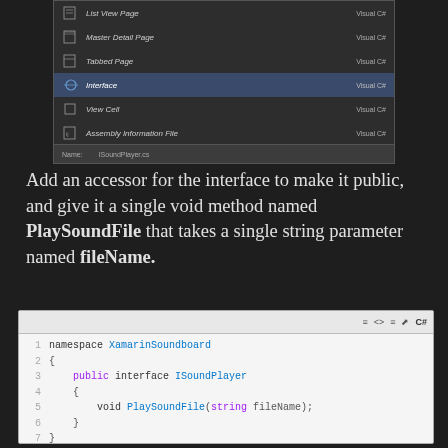[Figure (screenshot): Visual Studio Add New Item dialog screenshot showing menu options: List View Page, Master Detail Page, Tabbed Page, Interface (highlighted), View Cell, Assembly Information File, Code Analysis Rule Set, Code File, and another item, all marked as Visual C#. Bottom bar shows Name: ISoundPlayer.cs]
Add an accessor for the interface to make it public, and give it a single void method named PlaySoundFile that takes a single string parameter named fileName.
[Figure (screenshot): Code editor showing C# interface definition: namespace XamarinSoundboard { public interface ISoundPlayer { void PlaySoundFile(string fileName); } }]